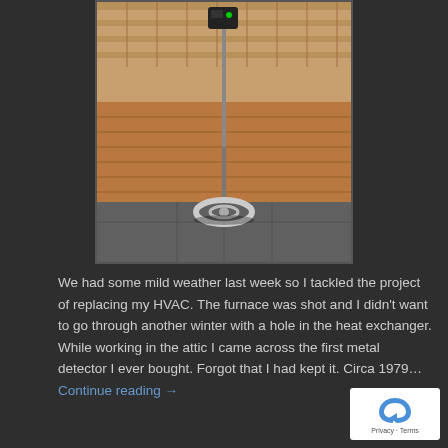[Figure (photo): A metal detector standing upright in an attic space. The detector has a box-like top unit attached to a long metal rod, with a circular search coil resting on a gray slate tile floor. The background shows wooden slat walls and ceiling typical of an attic or storage area.]
We had some mild weather last week so I tackled the project of replacing my HVAC. The furnace was shot and I didn't want to go through another winter with a hole in the heat exchanger. While working in the attic I came across the first metal detector I ever bought. Forgot that I had kept it. Circa 1979… Continue reading →